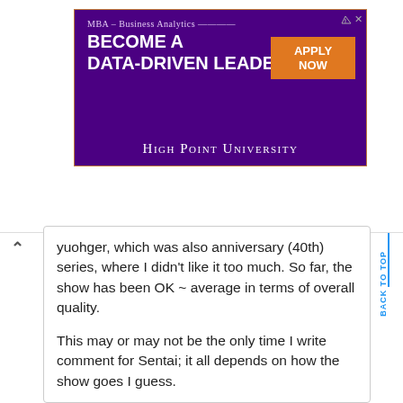[Figure (other): Advertisement banner for High Point University MBA Business Analytics program. Purple background with orange border accent. Text: 'MBA – Business Analytics BECOME A DATA-DRIVEN LEADER' with orange 'APPLY NOW' button. Bottom text: 'High Point University' in small caps.]
yuohger, which was also anniversary (40th) series, where I didn't like it too much. So far, the show has been OK ~ average in terms of overall quality.

This may or may not be the only time I write comment for Sentai; it all depends on how the show goes I guess.